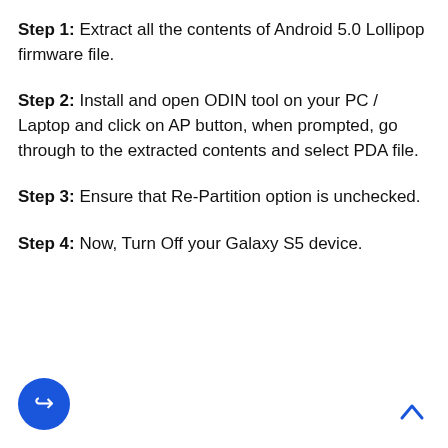Step 1: Extract all the contents of Android 5.0 Lollipop firmware file.
Step 2: Install and open ODIN tool on your PC / Laptop and click on AP button, when prompted, go through to the extracted contents and select PDA file.
Step 3: Ensure that Re-Partition option is unchecked.
Step 4: Now, Turn Off your Galaxy S5 device.
[Figure (illustration): Blue circular share/forward button icon at bottom left]